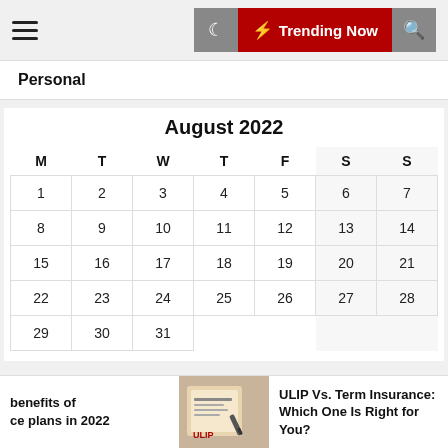☰  🌙  ⚡ Trending Now  🔍
Personal
August 2022
| M | T | W | T | F | S | S |
| --- | --- | --- | --- | --- | --- | --- |
| 1 | 2 | 3 | 4 | 5 | 6 | 7 |
| 8 | 9 | 10 | 11 | 12 | 13 | 14 |
| 15 | 16 | 17 | 18 | 19 | 20 | 21 |
| 22 | 23 | 24 | 25 | 26 | 27 | 28 |
| 29 | 30 | 31 |  |  |  |  |
benefits of ce plans in 2022 | ULIP Vs. Term Insurance: Which One Is Right for You?